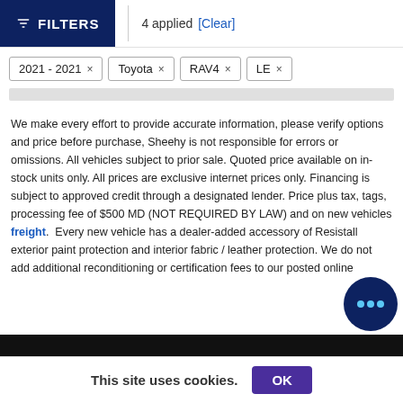FILTERS | 4 applied [Clear]
2021 - 2021 ×
Toyota ×
RAV4 ×
LE ×
We make every effort to provide accurate information, please verify options and price before purchase, Sheehy is not responsible for errors or omissions. All vehicles subject to prior sale. Quoted price available on in-stock units only. All prices are exclusive internet prices only. Financing is subject to approved credit through a designated lender. Price plus tax, tags, processing fee of $500 MD (NOT REQUIRED BY LAW) and on new vehicles freight.  Every new vehicle has a dealer-added accessory of Resistall exterior paint protection and interior fabric / leather protection. We do not add additional reconditioning or certification fees to our posted online
This site uses cookies.